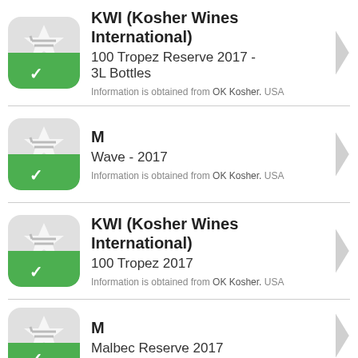KWI (Kosher Wines International) | 100 Tropez Reserve 2017 - 3L Bottles | Information is obtained from OK Kosher. USA
M | Wave - 2017 | Information is obtained from OK Kosher. USA
KWI (Kosher Wines International) | 100 Tropez 2017 | Information is obtained from OK Kosher. USA
M | Malbec Reserve 2017